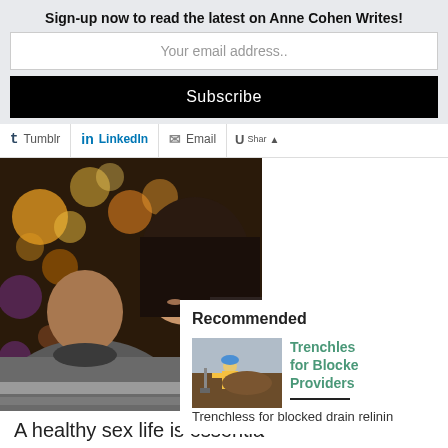Sign-up now to read the latest on Anne Cohen Writes!
Your email address..
Subscribe
Tumblr   LinkedIn   Email   Shar
[Figure (photo): A couple embracing in front of a bokeh Christmas tree with festive lights]
Recommended
[Figure (photo): A worker in a yellow vest working on a trench/drain]
Trenchless for Blocked Providers
Trenchless for blocked drain relinin
A healthy sex life is essentia